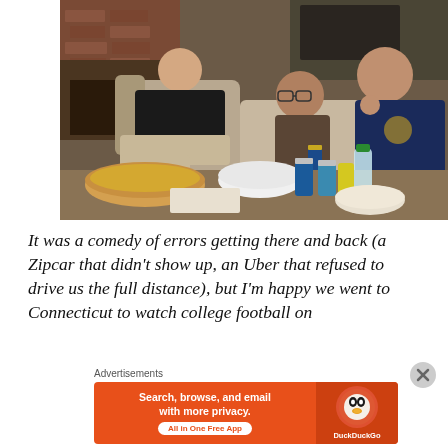[Figure (photo): Three men sitting in living room chairs watching TV, with food and drinks on a coffee table in the foreground including bowls of chips and dip, beer cans, and a water bottle.]
It was a comedy of errors getting there and back (a Zipcar that didn't show up, an Uber that refused to drive us the full distance), but I'm happy we went to Connecticut to watch college football on
Advertisements
[Figure (screenshot): DuckDuckGo advertisement banner: 'Search, browse, and email with more privacy. All in One Free App' with DuckDuckGo logo on orange background.]